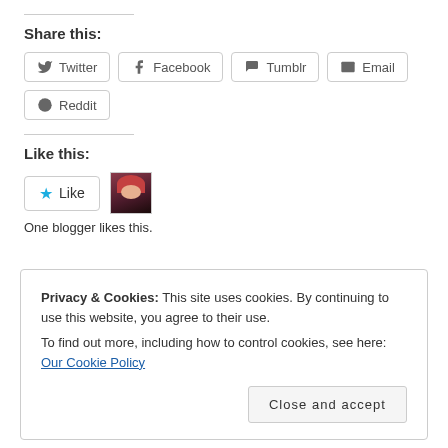Share this:
Twitter | Facebook | Tumblr | Email | Reddit
Like this:
[Figure (illustration): Like button with star icon and a blogger avatar thumbnail]
One blogger likes this.
Privacy & Cookies: This site uses cookies. By continuing to use this website, you agree to their use. To find out more, including how to control cookies, see here: Our Cookie Policy